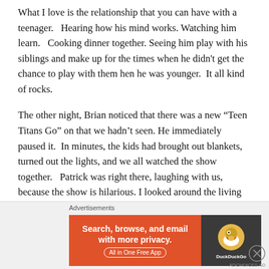What I love is the relationship that you can have with a teenager.   Hearing how his mind works.  Watching him learn.   Cooking dinner together.  Seeing him play with his siblings and make up for the times when he didn't get the chance to play with them hen he was younger.  It all kind of rocks.
The other night, Brian noticed that there was a new “Teen Titans Go” on that we hadn’t seen. He immediately paused it.  In minutes, the kids had brought out blankets, turned out the lights, and we all watched the show together.   Patrick was right there, laughing with us, because the show is hilarious. I looked around the living room that was
[Figure (other): DuckDuckGo advertisement banner: orange background with text 'Search, browse, and email with more privacy. All in One Free App' and DuckDuckGo logo on dark background]